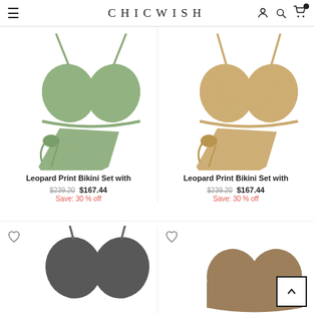CHICWISH
[Figure (photo): Green glitter leopard print bikini top (cropped, partial view) and matching wrap skirt/sarong bottom]
[Figure (photo): Gold/beige glitter leopard print bikini top (cropped, partial view) and matching wrap skirt/sarong bottom]
Leopard Print Bikini Set with
$239.20  $167.44
Save: 30 % off
Leopard Print Bikini Set with
$239.20  $167.44
Save: 30 % off
[Figure (photo): Dark/black glitter leopard print bikini top (partial, bottom of page)]
[Figure (photo): Brown/taupe glitter leopard print swimsuit (partial, bottom of page)]